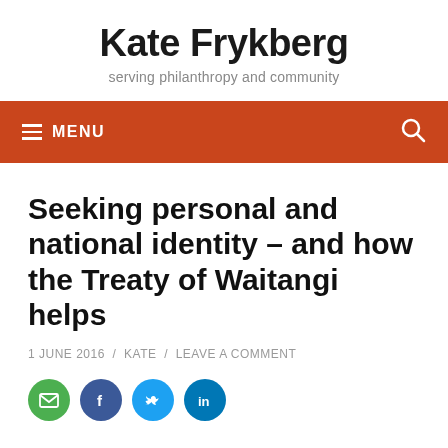Kate Frykberg
serving philanthropy and community
≡ MENU
Seeking personal and national identity – and how the Treaty of Waitangi helps
1 JUNE 2016 / KATE / LEAVE A COMMENT
[Figure (other): Social sharing icons: email (green), Facebook (blue), Twitter (light blue), LinkedIn (dark blue)]